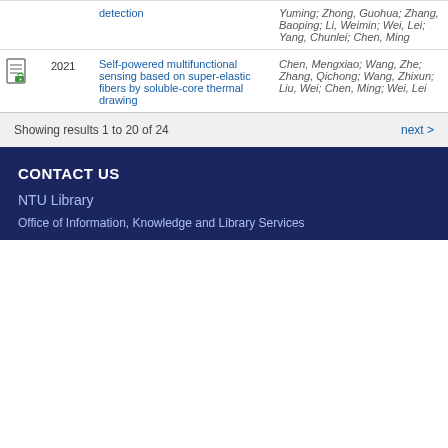|  | Year | Title | Authors |
| --- | --- | --- | --- |
|  |  | detection | Yuming; Zhong, Guohua; Zhang, Baoping; Li, Weimin; Wei, Lei; Yang, Chunlei; Chen, Ming |
| [icon] | 2021 | Self-powered multifunctional sensing based on super-elastic fibers by soluble-core thermal drawing | Chen, Mengxiao; Wang, Zhe; Zhang, Qichong; Wang, Zhixun; Liu, Wei; Chen, Ming; Wei, Lei |
Showing results 1 to 20 of 24
next >
CONTACT US
NTU Library
Office of Information, Knowledge and Library Services